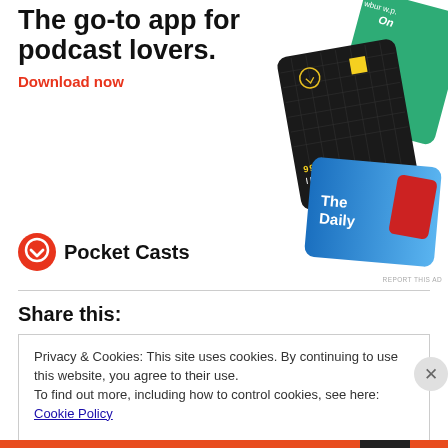[Figure (illustration): Pocket Casts app advertisement showing podcast cover art cards (99% Invisible, The Daily, and others) fanned out, with the Pocket Casts logo at bottom left]
The go-to app for podcast lovers.
Download now
Pocket Casts
REPORT THIS AD
Share this:
Privacy & Cookies: This site uses cookies. By continuing to use this website, you agree to their use.
To find out more, including how to control cookies, see here: Cookie Policy
Close and accept